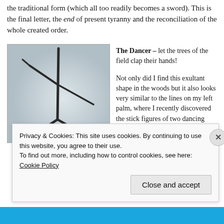the traditional form (which all too readily becomes a sword). This is the final letter, the end of present tyranny and the reconciliation of the whole created order.
[Figure (photo): A photograph of bare tree branches arranged in a shape resembling a dancing figure, silhouetted against a light grey sky background.]
The Dancer – let the trees of the field clap their hands!

Not only did I find this exultant shape in the woods but it also looks very similar to the lines on my left palm, where I recently discovered the stick figures of two dancing people.
Privacy & Cookies: This site uses cookies. By continuing to use this website, you agree to their use.
To find out more, including how to control cookies, see here: Cookie Policy
Close and accept